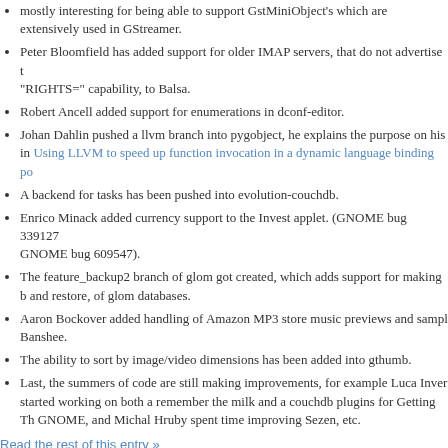mostly interesting for being able to support GstMiniObject's which are extensively used in GStreamer.
Peter Bloomfield has added support for older IMAP servers, that do not advertise the "RIGHTS=" capability, to Balsa.
Robert Ancell added support for enumerations in dconf-editor.
Johan Dahlin pushed a llvm branch into pygobject, he explains the purpose on his in Using LLVM to speed up function invocation in a dynamic language binding po...
A backend for tasks has been pushed into evolution-couchdb.
Enrico Minack added currency support to the Invest applet. (GNOME bug 339127... GNOME bug 609547).
The feature_backup2 branch of glom got created, which adds support for making b... and restore, of glom databases.
Aaron Bockover added handling of Amazon MP3 store music previews and sampl... Banshee.
The ability to sort by image/video dimensions has been added into gthumb.
Last, the summers of code are still making improvements, for example Luca Inver... started working on both a remember the milk and a couchdb plugins for Getting Th... GNOME, and Michal Hruby spent time improving Sezen, etc.
Read the rest of this entry »
Posted by fredp
Filed in Digests
Tags: balsa, banshee, brasero, cheese, dconf, empathy, evince, evolution-couchdb, getting-things... glom, gnome-applets, gnome-icon-theme-symbolic, gnome-shell, gobject-introspection, gthumb, pyg... sezen, yelp-xsl